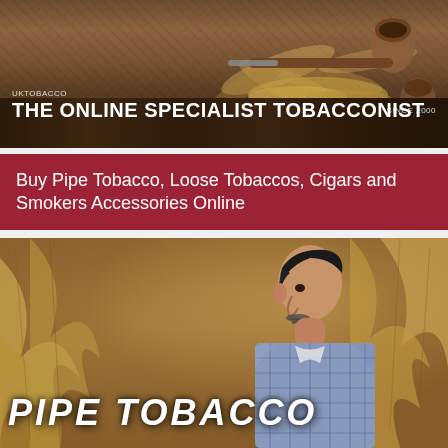[Figure (photo): Banner image showing tobacco pipes and loose tobacco on a dark wooden surface. Overlay text reads 'UKTOBACCO' and 'THE ONLINE SPECIALIST TOBACCONIST SINCE 2000'.]
Buy Pipe Tobacco, Loose Tobaccos, Cigars and Smokers Accessories Online
[Figure (photo): Photo of an older man in a checked shirt surrounded by tobacco leaves, with large white text overlay reading 'PIPE TOBACCO']